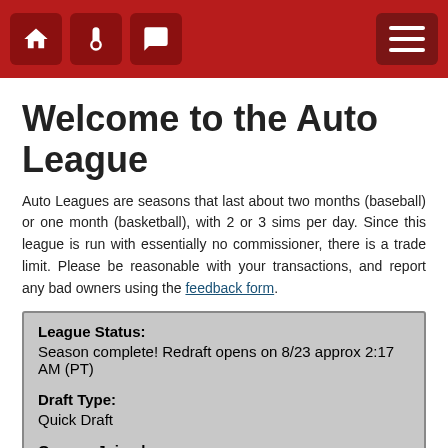Navigation bar with home, thermometer, chat icons and menu button
Welcome to the Auto League
Auto Leagues are seasons that last about two months (baseball) or one month (basketball), with 2 or 3 sims per day. Since this league is run with essentially no commissioner, there is a trade limit. Please be reasonable with your transactions, and report any bad owners using the feedback form.
| Field | Value |
| --- | --- |
| League Status: | Season complete! Redraft opens on 8/23 approx 2:17 AM (PT) |
| Draft Type: | Quick Draft |
| Owners Joined: | 11 of 12 |